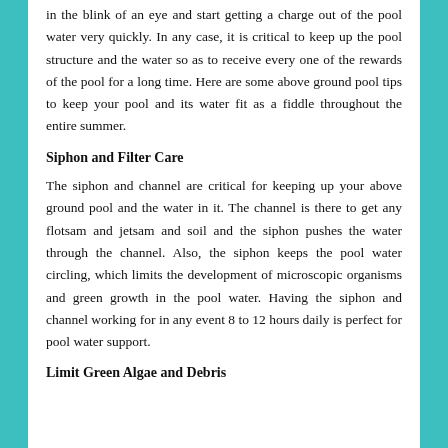in the blink of an eye and start getting a charge out of the pool water very quickly. In any case, it is critical to keep up the pool structure and the water so as to receive every one of the rewards of the pool for a long time. Here are some above ground pool tips to keep your pool and its water fit as a fiddle throughout the entire summer.
Siphon and Filter Care
The siphon and channel are critical for keeping up your above ground pool and the water in it. The channel is there to get any flotsam and jetsam and soil and the siphon pushes the water through the channel. Also, the siphon keeps the pool water circling, which limits the development of microscopic organisms and green growth in the pool water. Having the siphon and channel working for in any event 8 to 12 hours daily is perfect for pool water support.
Limit Green Algae and Debris